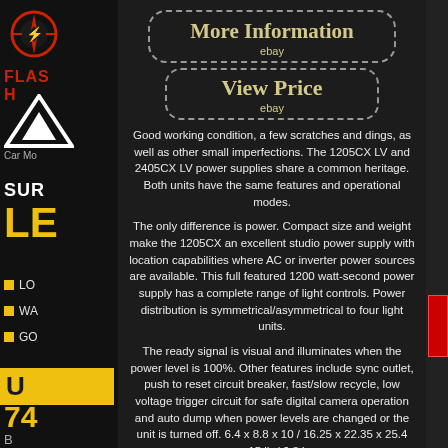[Figure (infographic): Left sidebar with logo, FLASH text, arrow logo, Car Mo text, SUR text, LE large yellow text, list items LO/WA/GO, yellow U banner, 74 number, B text]
More Information
ebay
View Price
ebay
Good working condition, a few scratches and dings, as well as other small imperfections. The 1205CX LV and 2405CX LV power supplies share a common heritage. Both units have the same features and operational modes.
The only difference is power. Compact size and weight make the 1205CX an excellent studio power supply with location capabilities where AC or inverter power sources are available. This full featured 1200 watt-second power supply has a complete range of light controls. Power distribution is symmetrical/asymmetrical to four light units.
The ready signal is visual and illuminates when the power level is 100%. Other features include sync outlet, push to reset circuit breaker, fast/slow recycle, low voltage trigger circuit for safe digital camera operation and auto dump when power levels are changed or the unit is turned off. 6.4 x 8.8 x 10 / 16.25 x 22.35 x 25.4 cm. 15 lb / 6.8 kg.
The item "Speedotron 1205CX Black Line Studio Strobe Power Supply Used VGC 1200 Watt Sec" is in sale since Monday, December 16, 2019. This item is in the category "Cameras & Photo\Lighting & Studio\Flash Lighting\Flash Heads & Power Supplies".